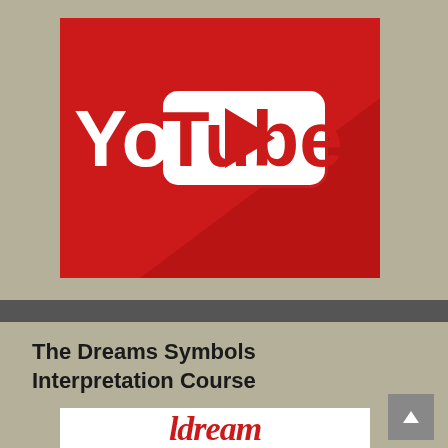[Figure (logo): YouTube logo with flat design shadow effect on red background square. White text 'YouTube' with red outlined 'Tube' portion in white rounded rectangle badge.]
The Dreams Symbols Interpretation Course
[Figure (logo): Partial view of a logo with red italic serif text beginning with 'ldream' on white background, cropped at bottom of page.]